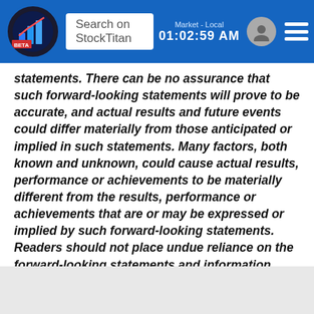Search on StockTitan | Market - Local 01:02:59 AM
statements. There can be no assurance that such forward-looking statements will prove to be accurate, and actual results and future events could differ materially from those anticipated or implied in such statements. Many factors, both known and unknown, could cause actual results, performance or achievements to be materially different from the results, performance or achievements that are or may be expressed or implied by such forward-looking statements. Readers should not place undue reliance on the forward-looking statements and information contained in this news release concerning these matters. Oroco does not assume any obligation to update the forward-looking statements should they change, except as required by law.